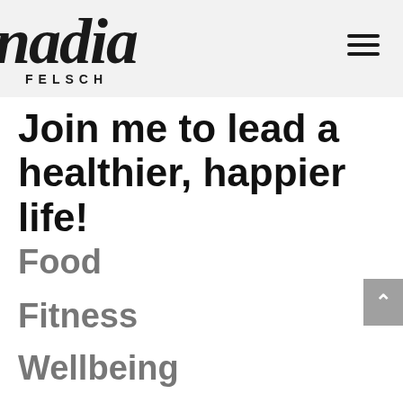nadia FELSCH
Join me to lead a healthier, happier life!
Food
Fitness
Wellbeing